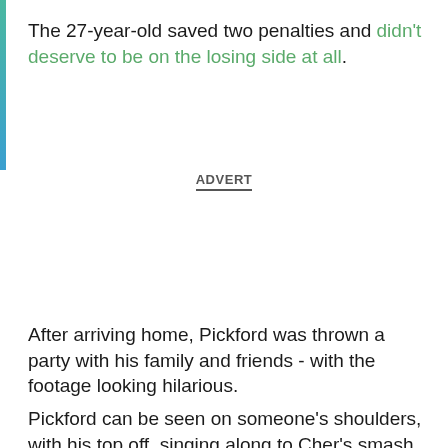The 27-year-old saved two penalties and didn't deserve to be on the losing side at all.
ADVERT
After arriving home, Pickford was thrown a party with his family and friends - with the footage looking hilarious.
Pickford can be seen on someone's shoulders, with his top off, singing along to Cher's smash hit